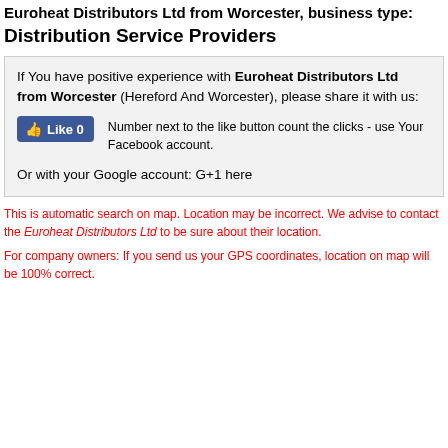Euroheat Distributors Ltd from Worcester, business type: Distribution Service Providers
If You have positive experience with Euroheat Distributors Ltd from Worcester (Hereford And Worcester), please share it with us:
[Like 0 button] Number next to the like button count the clicks - use Your Facebook account.
Or with your Google account: G+1 here
This is automatic search on map. Location may be incorrect. We advise to contact the Euroheat Distributors Ltd to be sure about their location.
For company owners: If you send us your GPS coordinates, location on map will be 100% correct.